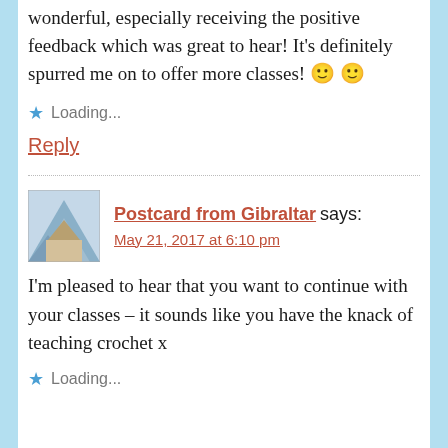wonderful, especially receiving the positive feedback which was great to hear! It's definitely spurred me on to offer more classes! 🙂 🙂
Loading...
Reply
Postcard from Gibraltar says:
May 21, 2017 at 6:10 pm
I'm pleased to hear that you want to continue with your classes – it sounds like you have the knack of teaching crochet x
Loading...